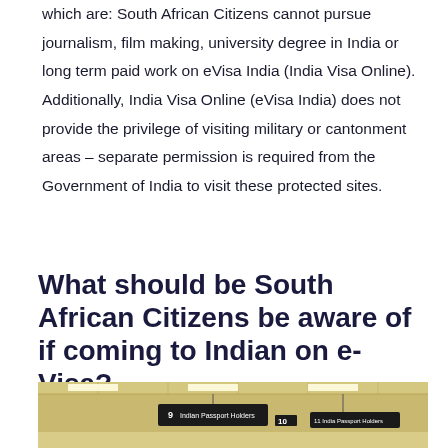which are: South African Citizens cannot pursue journalism, film making, university degree in India or long term paid work on eVisa India (India Visa Online). Additionally, India Visa Online (eVisa India) does not provide the privilege of visiting military or cantonment areas – separate permission is required from the Government of India to visit these protected sites.
What should be South African Citizens be aware of if coming to Indian on e-Visa?
[Figure (photo): Airport interior showing immigration counters with overhead hanging signs. Signs read '9 Indian Passport Holders' and '10' and '11 India Passport Holders'. Ceiling has fluorescent lighting. Floor appears light-colored.]